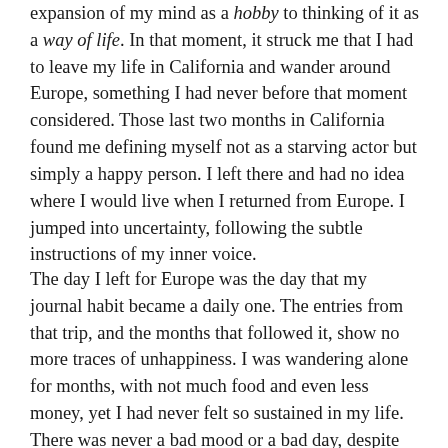expansion of my mind as a hobby to thinking of it as a way of life.  In that moment, it struck me that I had to leave my life in California and wander around Europe, something I had never before that moment considered.  Those last two months in California found me defining myself not as a starving actor but simply a happy person.  I left there and had no idea where I would live when I returned from Europe.  I jumped into uncertainty, following the subtle instructions of my inner voice.
The day I left for Europe was the day that my journal habit became a daily one.  The entries from that trip, and the months that followed it, show no more traces of unhappiness.  I was wandering alone for months, with not much food and even less money, yet I had never felt so sustained in my life.  There was never a bad mood or a bad day, despite all of the challenges that one encounters on such an adventure.  The entries describe one blissful day after another, each one increasing in self-knowledge, and